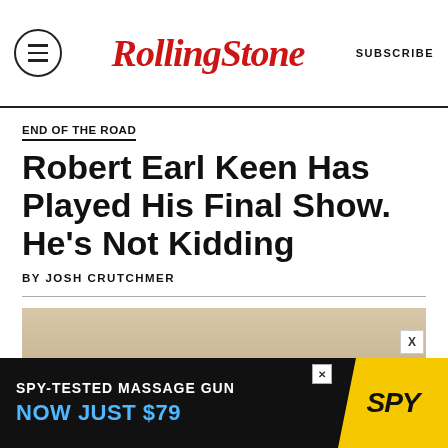RollingStone  SUBSCRIBE
END OF THE ROAD
Robert Earl Keen Has Played His Final Show. He's Not Kidding
BY JOSH CRUTCHMER
[Figure (photo): Close-up photo of a man wearing a wide-brimmed tan cowboy hat and dark-tinted glasses, face partially shadowed by the hat brim.]
SPY-TESTED MASSAGE GUN NOW JUST $79  SPY